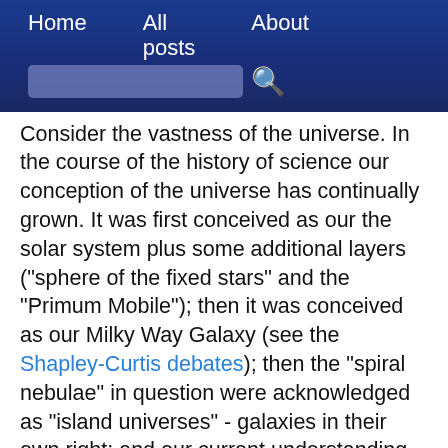Home   All posts   About
Consider the vastness of the universe. In the course of the history of science our conception of the universe has continually grown. It was first conceived as our the solar system plus some additional layers ("sphere of the fixed stars" and the "Primum Mobile"); then it was conceived as our Milky Way Galaxy (see the Shapley-Curtis debates); then the "spiral nebulae" in question were acknowledged as "island universes" - galaxies in their own right; and our current understanding is that the observable universe is some 90 billion light years across, with who knows how many myriads of equivalent volumes beyond the observable edge.
Now an atheistic worldview is equally compatible